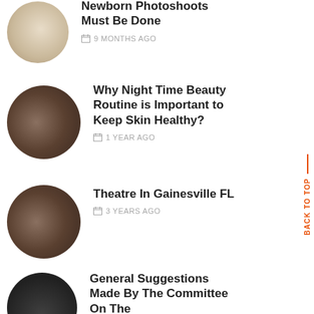[Figure (photo): Circular cropped photo of a newborn baby]
Newborn Photoshoots Must Be Done
9 MONTHS AGO
[Figure (photo): Circular cropped photo of hands holding a book/mug]
Why Night Time Beauty Routine is Important to Keep Skin Healthy?
1 YEAR AGO
[Figure (photo): Circular cropped photo of hands holding a book/mug]
Theatre In Gainesville FL
3 YEARS AGO
[Figure (photo): Circular cropped photo of people at an event]
General Suggestions Made By The Committee On The Election Of...